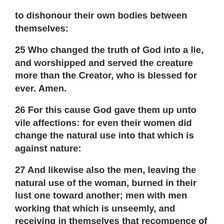to dishonour their own bodies between themselves:
25 Who changed the truth of God into a lie, and worshipped and served the creature more than the Creator, who is blessed for ever. Amen.
26 For this cause God gave them up unto vile affections: for even their women did change the natural use into that which is against nature:
27 And likewise also the men, leaving the natural use of the woman, burned in their lust one toward another; men with men working that which is unseemly, and receiving in themselves that recompence of their error which was meet.
28 And even as they did not like to retain God in their knowledge, God gave them over to a